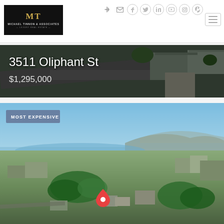[Figure (logo): Michael Tinnon & Associates Luxury Real Estate logo - black rectangle with gold MT monogram]
[Figure (other): Social media icons row: sign-in, email, Facebook, Twitter, LinkedIn, YouTube, Instagram, Pinterest]
[Figure (other): Hamburger menu button]
[Figure (photo): Aerial view of residential property at 3511 Oliphant St with text overlay showing address and price $1,295,000]
3511 Oliphant St
$1,295,000
[Figure (photo): Aerial city view photo showing San Diego neighborhood with bay, hills and 'MOST EXPENSIVE' badge overlay and map pin marker]